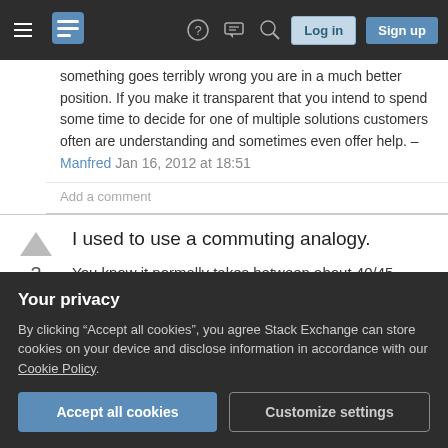Stack Exchange navigation bar with hamburger menu, logo, question mark, chat, search icons, Log in and Sign up buttons
something goes terribly wrong you are in a much better position. If you make it transparent that you intend to spend some time to decide for one of multiple solutions customers often are understanding and sometimes even offer help. – Manfred Jan 16, 2012 at 18:51
Add a comment
I used to use a commuting analogy.
You know it normally takes between about 40/45 minutes to get to work, so there's a basic level of
hour. This only happens about once a month, but it
Your privacy
By clicking "Accept all cookies", you agree Stack Exchange can store cookies on your device and disclose information in accordance with our Cookie Policy.
Accept all cookies
Customize settings